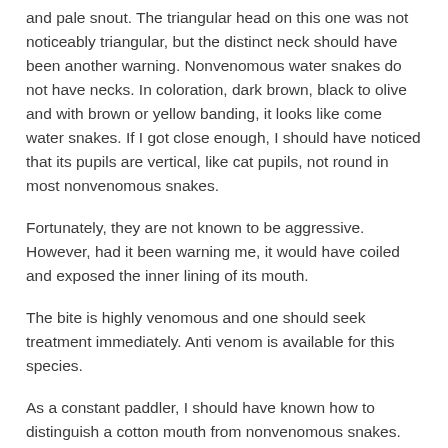and pale snout. The triangular head on this one was not noticeably triangular, but the distinct neck should have been another warning. Nonvenomous water snakes do not have necks. In coloration, dark brown, black to olive and with brown or yellow banding, it looks like come water snakes. If I got close enough, I should have noticed that its pupils are vertical, like cat pupils, not round in most nonvenomous snakes.
Fortunately, they are not known to be aggressive. However, had it been warning me, it would have coiled and exposed the inner lining of its mouth.
The bite is highly venomous and one should seek treatment immediately. Anti venom is available for this species.
As a constant paddler, I should have known how to distinguish a cotton mouth from nonvenomous snakes.